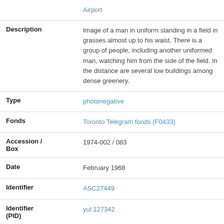|  | Airport |
| Description | Image of a man in uniform standing in a field in grasses almost up to his waist. There is a group of people, including another uniformed man, watching him from the side of the field. In the distance are several low buildings among dense greenery. |
| Type | photonegative |
| Fonds | Toronto Telegram fonds (F0433) |
| Accession / Box | 1974-002 / 083 |
| Date | February 1968 |
| Identifier | ASC27449 |
| Identifier (PID) | yul:127342 |